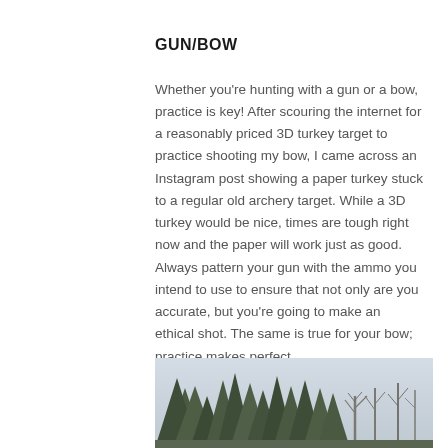GUN/BOW
Whether you're hunting with a gun or a bow, practice is key! After scouring the internet for a reasonably priced 3D turkey target to practice shooting my bow, I came across an Instagram post showing a paper turkey stuck to a regular old archery target. While a 3D turkey would be nice, times are tough right now and the paper will work just as good. Always pattern your gun with the ammo you intend to use to ensure that not only are you accurate, but you're going to make an ethical shot. The same is true for your bow; practice makes perfect.
[Figure (photo): Outdoor winter scene with evergreen and bare deciduous trees against an overcast sky]